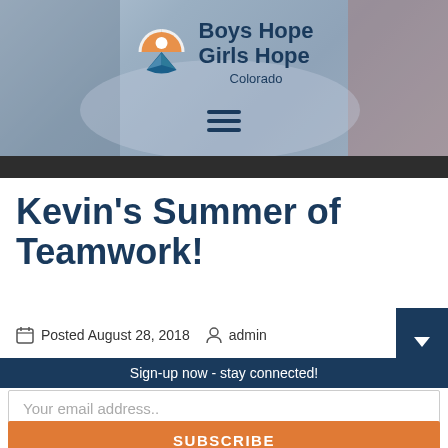[Figure (screenshot): Website header photo showing blurred background of people with school/work supplies, with semi-transparent overlay giving a blue-grey tint. Boys Hope Girls Hope Colorado logo centered in upper portion with hamburger menu below.]
Kevin's Summer of Teamwork!
Posted August 28, 2018  admin
Sign-up now - stay connected!
Your email address..
SUBSCRIBE